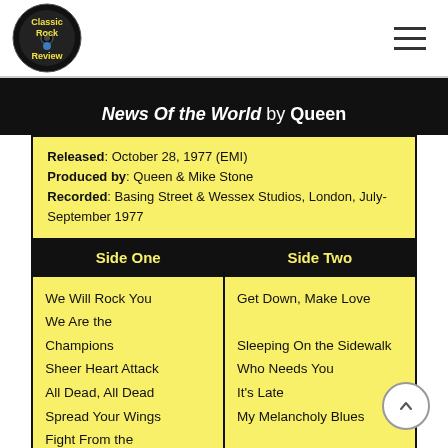Classic Rock Review
News Of the World by Queen
|  |  |
| --- | --- |
| Released: October 28, 1977 (EMI)
Produced by: Queen & Mike Stone
Recorded: Basing Street & Wessex Studios, London, July-September 1977 |  |
| Side One | Side Two |
| We Will Rock You
We Are the Champions
Sheer Heart Attack
All Dead, All Dead
Spread Your Wings
Fight From the Inside | Get Down, Make Love
Sleeping On the Sidewalk
Who Needs You
It's Late
My Melancholy Blues |
| Group Musicians |  |
|  |  |